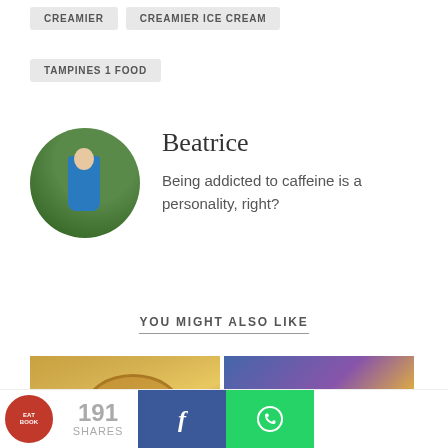CREAMIER
CREAMIER ICE CREAM
TAMPINES 1 FOOD
[Figure (photo): Circular avatar photo of author Beatrice, showing a person standing outdoors among green foliage]
Beatrice
Being addicted to caffeine is a personality, right?
YOU MIGHT ALSO LIKE
[Figure (photo): Photo of potato chips in a bowl]
[Figure (photo): Photo with Jack'n Pot product packaging visible]
191 SHARES